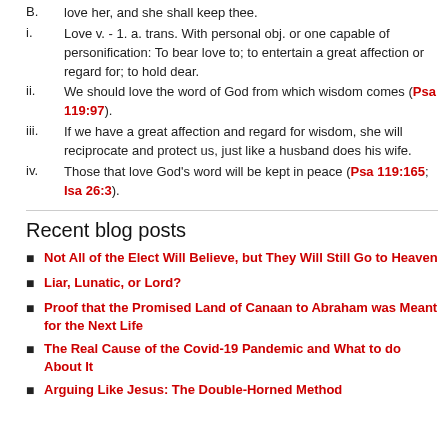B.    love her, and she shall keep thee.
i.    Love v. - 1. a. trans. With personal obj. or one capable of personification: To bear love to; to entertain a great affection or regard for; to hold dear.
ii.    We should love the word of God from which wisdom comes (Psa 119:97).
iii.    If we have a great affection and regard for wisdom, she will reciprocate and protect us, just like a husband does his wife.
iv.    Those that love God's word will be kept in peace (Psa 119:165; Isa 26:3).
Recent blog posts
Not All of the Elect Will Believe, but They Will Still Go to Heaven
Liar, Lunatic, or Lord?
Proof that the Promised Land of Canaan to Abraham was Meant for the Next Life
The Real Cause of the Covid-19 Pandemic and What to do About It
Arguing Like Jesus: The Double-Horned Method